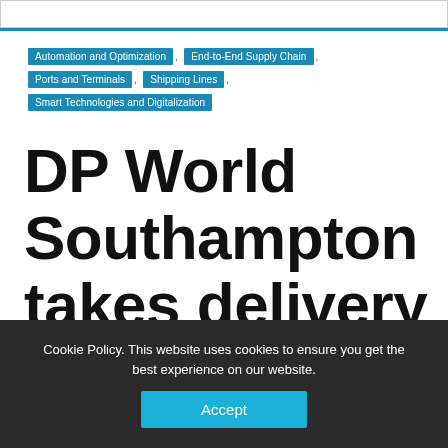Automation and Optimization , End-to-End Supply Chain , Ports and Terminals , Shipping Lines , Smart Technologies and Digitalization
DP World Southampton takes delivery of six new straddle
Cookie Policy. This website uses cookies to ensure you get the best experience on our website.